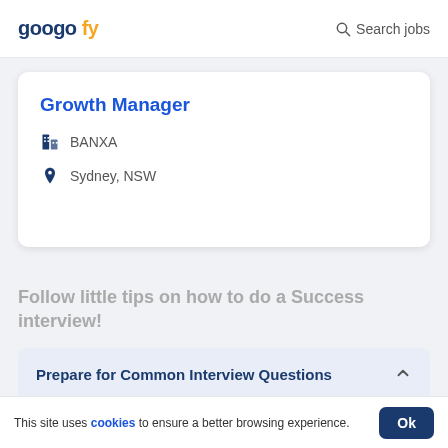googofy  Search jobs
Growth Manager
BANXA
Sydney, NSW
Follow little tips on how to do a Success interview!
Prepare for Common Interview Questions
This site uses cookies to ensure a better browsing experience.